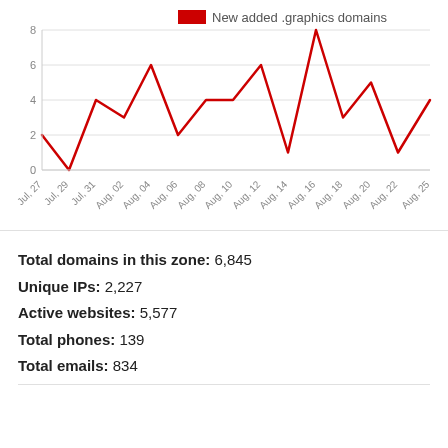[Figure (line-chart): New added .graphics domains]
Total domains in this zone: 6,845
Unique IPs: 2,227
Active websites: 5,577
Total phones: 139
Total emails: 834